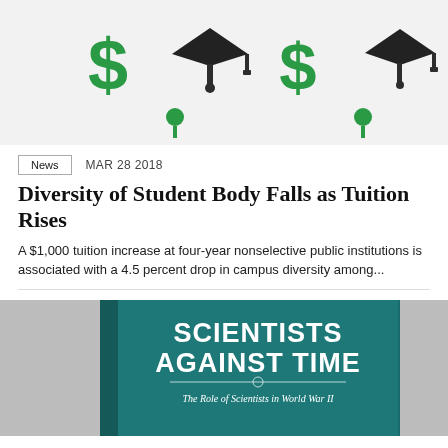[Figure (illustration): Decorative header illustration showing repeating pattern of green dollar signs and dark graduation caps, with small green thumbtack icons below]
News   MAR 28 2018
Diversity of Student Body Falls as Tuition Rises
A $1,000 tuition increase at four-year nonselective public institutions is associated with a 4.5 percent drop in campus diversity among...
[Figure (photo): Book cover: 'SCIENTISTS AGAINST TIME - The Role of Scientists in World War II', teal/dark blue background with white text]